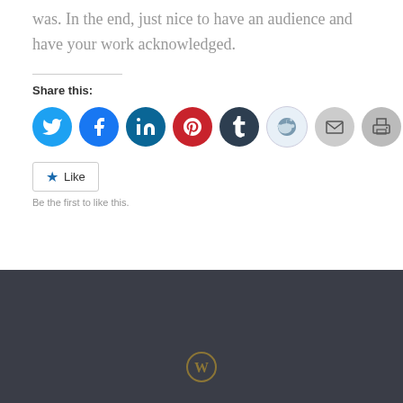was. In the end, just nice to have an audience and have your work acknowledged.
Share this:
[Figure (infographic): Row of social media sharing icon buttons: Twitter (blue), Facebook (blue), LinkedIn (teal), Pinterest (red), Tumblr (dark), Reddit (light blue), Email (gray), Print (gray)]
Like
Be the first to like this.
[Figure (logo): WordPress logo (circular W mark in gold/dark yellow) at bottom center of dark footer bar]